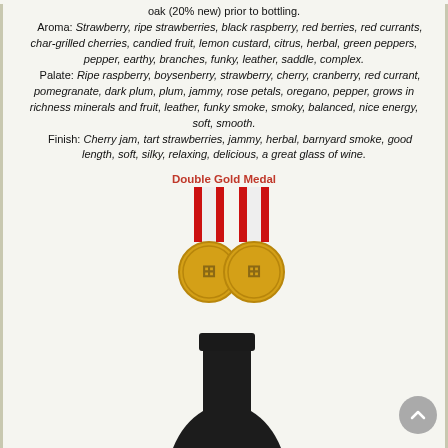oak (20% new) prior to bottling. Aroma: Strawberry, ripe strawberries, black raspberry, red berries, red currants, char-grilled cherries, candied fruit, lemon custard, citrus, herbal, green peppers, pepper, earthy, branches, funky, leather, saddle, complex. Palate: Ripe raspberry, boysenberry, strawberry, cherry, cranberry, red currant, pomegranate, dark plum, plum, jammy, rose petals, oregano, pepper, grows in richness minerals and fruit, leather, funky smoke, smoky, balanced, nice energy, soft, smooth. Finish: Cherry jam, tart strawberries, jammy, herbal, barnyard smoke, good length, soft, silky, relaxing, delicious, a great glass of wine.
Double Gold Medal
[Figure (illustration): Two gold medals with red, white, and blue ribbons]
[Figure (photo): Bottom portion of a wine bottle with dark capsule visible]